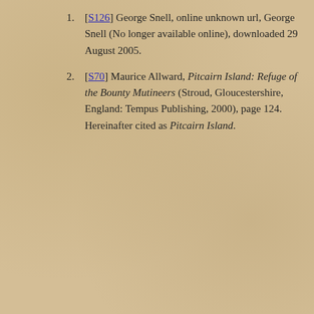[S126] George Snell, online unknown url, George Snell (No longer available online), downloaded 29 August 2005.
[S70] Maurice Allward, Pitcairn Island: Refuge of the Bounty Mutineers (Stroud, Gloucestershire, England: Tempus Publishing, 2000), page 124. Hereinafter cited as Pitcairn Island.